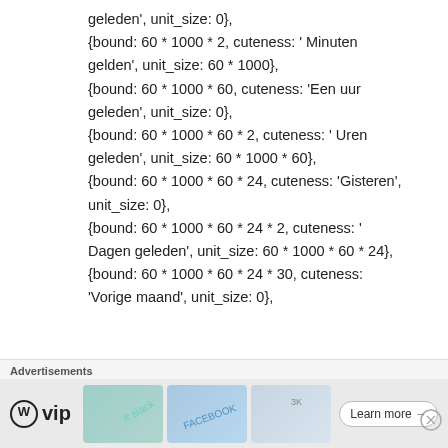geleden', unit_size: 0},
{bound: 60 * 1000 * 2, cuteness: ' Minuten gelden', unit_size: 60 * 1000},
{bound: 60 * 1000 * 60, cuteness: 'Een uur geleden', unit_size: 0},
{bound: 60 * 1000 * 60 * 2, cuteness: ' Uren geleden', unit_size: 60 * 1000 * 60},
{bound: 60 * 1000 * 60 * 24, cuteness: 'Gisteren', unit_size: 0},
{bound: 60 * 1000 * 60 * 24 * 2, cuteness: ' Dagen geleden', unit_size: 60 * 1000 * 60 * 24},
{bound: 60 * 1000 * 60 * 24 * 30, cuteness: 'Vorige maand', unit_size: 0},
[Figure (other): Advertisement bar with Advertisements label, WordPress VIP logo, slack and Facebook tile images, and a Learn more arrow button]